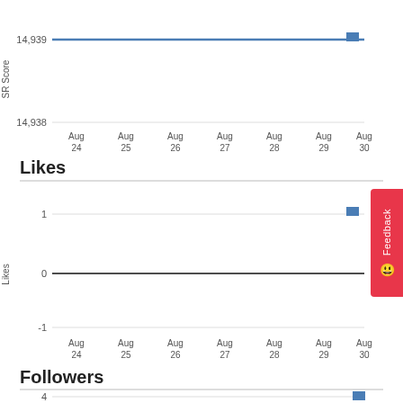[Figure (line-chart): SR Score]
Likes
[Figure (line-chart): Likes]
Followers
[Figure (line-chart): Followers]